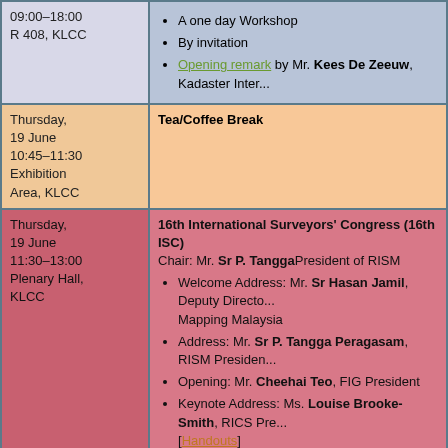| Time/Location | Event |
| --- | --- |
| 09:00–18:00
R 408, KLCC | • A one day Workshop
• By invitation
• Opening remark by Mr. Kees De Zeeuw, Kadaster Inter... |
| Thursday, 19 June
10:45–11:30
Exhibition Area, KLCC | Tea/Coffee Break |
| Thursday, 19 June
11:30–13:00
Plenary Hall, KLCC | 16th International Surveyors' Congress (16th ISC)
Chair: Mr. Sr P. Tangga President of RISM
• Welcome Address: Mr. Sr Hasan Jamil, Deputy Director Mapping Malaysia
• Address: Mr. Sr P. Tangga Peragasam, RISM President...
• Opening: Mr. Cheehai Teo, FIG President
• Keynote Address: Ms. Louise Brooke-Smith, RICS Pre...
[Handouts]
• Keynote Address: Prof. Jon Mills, Treasurer of ISPRS
[Handouts] |
| Thursday, | FAO/FIG Roundtable on VGGT and Valuation Standards |